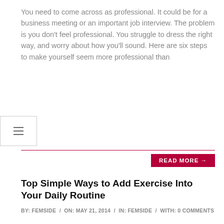You need to come across as professional. It could be for a business meeting or an important job interview. The problem is you don't feel professional. You struggle to dress the right way, and worry about how you'll sound. Here are six steps to make yourself seem more professional than
READ MORE →
Top Simple Ways to Add Exercise Into Your Daily Routine
BY: FEMSIDE / ON: MAY 21, 2014 / IN: FEMSIDE / WITH: 0 COMMENTS
Making exercise part of your daily routine is essential. It's the best way to make it something you will stick to, so it all becomes a habit. You don't need to do all your exercise at once. It's possible to split it up throughout your day. Here are six simple
READ MORE →